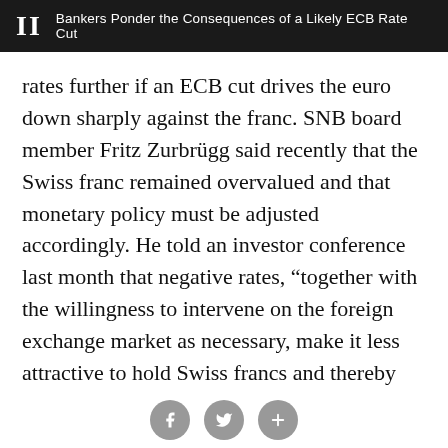II  Bankers Ponder the Consequences of a Likely ECB Rate Cut
rates further if an ECB cut drives the euro down sharply against the franc. SNB board member Fritz Zurbrügg said recently that the Swiss franc remained overvalued and that monetary policy must be adjusted accordingly. He told an investor conference last month that negative rates, “together with the willingness to intervene on the foreign exchange market as necessary, make it less attractive to hold Swiss francs and thereby support a further weakening of the currency.”
A similar conundrum faces the Danish and Swedish central banks. Pernille Bomholdt Henneberg, euro analyst for Copenhagen-based Danske Bank, said